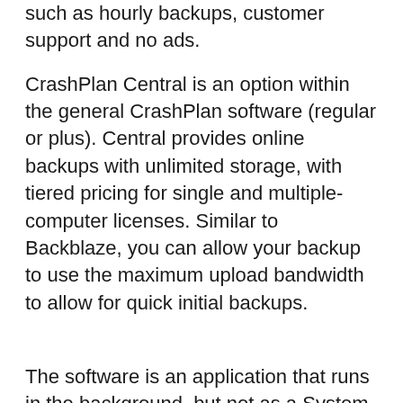such as hourly backups, customer support and no ads.
CrashPlan Central is an option within the general CrashPlan software (regular or plus). Central provides online backups with unlimited storage, with tiered pricing for single and multiple-computer licenses. Similar to Backblaze, you can allow your backup to use the maximum upload bandwidth to allow for quick initial backups.
The software is an application that runs in the background, but not as a System Preference or with a menu bar icon. CrashPlan uses inclusionary, rather than exclusionary, backups. Changing the configuration does not require the Administrator password, but CrashPlan can optionally request one of its own. I really liked this option because I feel a regular user should not be able to